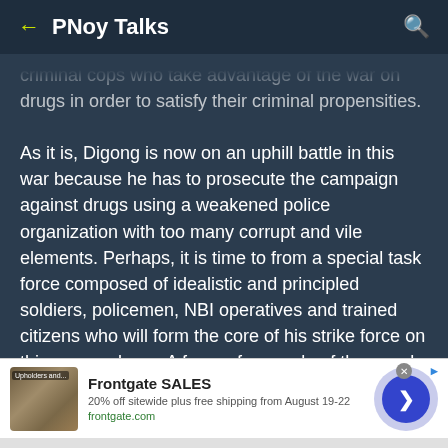PNoy Talks
criminal cops who take advantage of the war on drugs in order to satisfy their criminal propensities.

As it is, Digong is now on an uphill battle in this war because he has to prosecute the campaign against drugs using a weakened police organization with too many corrupt and vile elements. Perhaps, it is time to from a special task force composed of idealistic and principled soldiers, policemen, NBI operatives and trained citizens who will form the core of his strike force on this war on drugs. A force of a couple of thousand would be a good start. Then he can also expand it to include an aggressive campaign against
[Figure (screenshot): Advertisement banner for Frontgate SALES showing outdoor furniture image, text '20% off sitewide plus free shipping from August 19-22', frontgate.com link, and a blue circular button with right arrow.]